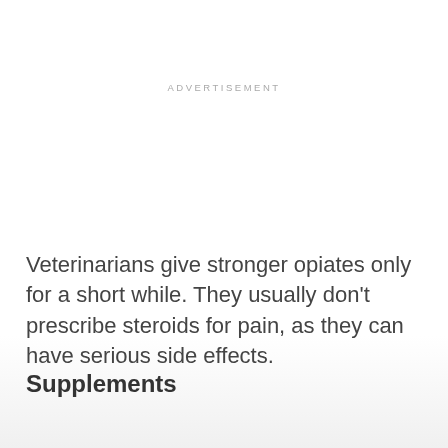ADVERTISEMENT
Veterinarians give stronger opiates only for a short while. They usually don't prescribe steroids for pain, as they can have serious side effects.
Supplements